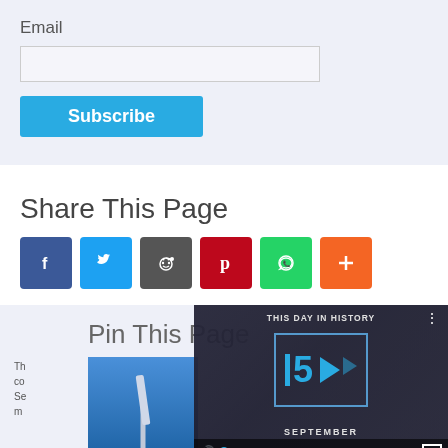Email
Subscribe
Share This Page
[Figure (infographic): Social share buttons: Facebook (blue f), Twitter (blue bird), Reddit (dark alien), Pinterest (red P), WhatsApp (green phone), More (orange +)]
Pin This Page
Th co Se m
[Figure (screenshot): Video overlay showing 'THIS DAY IN HISTORY' player with large '5' icon and 'SEPTEMBER' text, with video controls including mute, progress bar and fullscreen button]